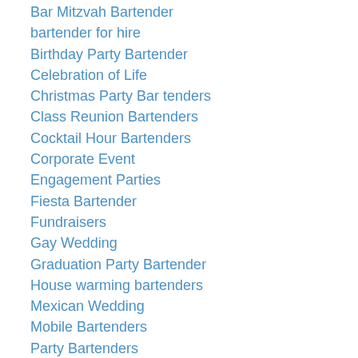Bar Mitzvah Bartender
bartender for hire
Birthday Party Bartender
Celebration of Life
Christmas Party Bar tenders
Class Reunion Bartenders
Cocktail Hour Bartenders
Corporate Event
Engagement Parties
Fiesta Bartender
Fundraisers
Gay Wedding
Graduation Party Bartender
House warming bartenders
Mexican Wedding
Mobile Bartenders
Party Bartenders
Party Planning
Private Bartender
Quinceanera Bartender